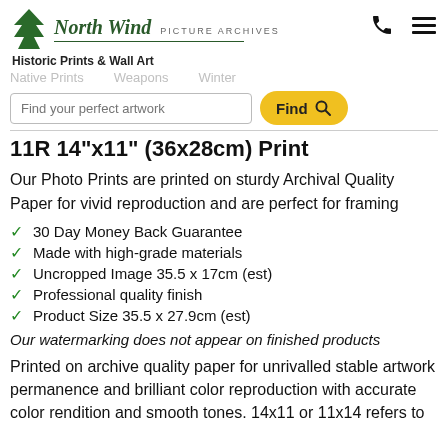North Wind PICTURE ARCHIVES
Historic Prints & Wall Art
11R 14"x11" (36x28cm) Print
Our Photo Prints are printed on sturdy Archival Quality Paper for vivid reproduction and are perfect for framing
30 Day Money Back Guarantee
Made with high-grade materials
Uncropped Image 35.5 x 17cm (est)
Professional quality finish
Product Size 35.5 x 27.9cm (est)
Our watermarking does not appear on finished products
Printed on archive quality paper for unrivalled stable artwork permanence and brilliant color reproduction with accurate color rendition and smooth tones. 14x11 or 11x14 refers to